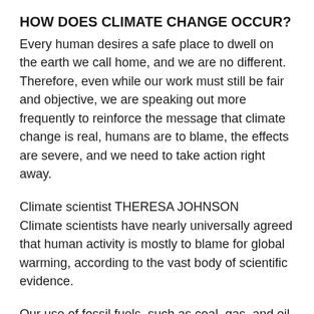HOW DOES CLIMATE CHANGE OCCUR?
Every human desires a safe place to dwell on the earth we call home, and we are no different. Therefore, even while our work must still be fair and objective, we are speaking out more frequently to reinforce the message that climate change is real, humans are to blame, the effects are severe, and we need to take action right away.
Climate scientist THERESA JOHNSON
Climate scientists have nearly universally agreed that human activity is mostly to blame for global warming, according to the vast body of scientific evidence.
Our use of fossil fuels, such as coal, gas, and oil, which has raised the concentration of greenhouse gases in our atmosphere, such as carbon dioxide, is by far one of the